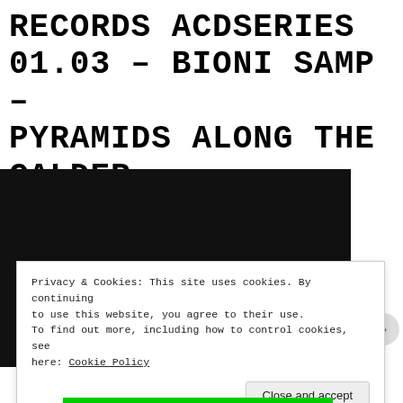RECORDS ACDSERIES 01.03 – BIONI SAMP – PYRAMIDS ALONG THE CALDER
[Figure (screenshot): Dark album cover image showing text 'Bioni Samp' and partially visible 'Pyramids Along The Calder' on a black background]
Privacy & Cookies: This site uses cookies. By continuing to use this website, you agree to their use. To find out more, including how to control cookies, see here: Cookie Policy
Close and accept